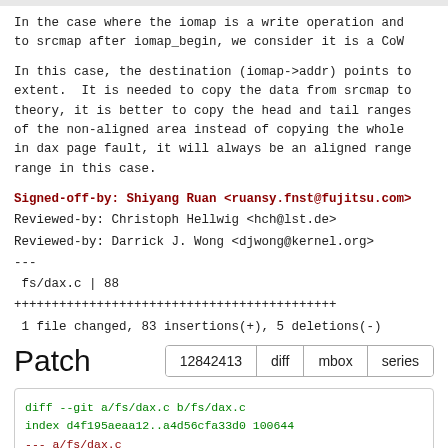In the case where the iomap is a write operation and to srcmap after iomap_begin, we consider it is a CoW
In this case, the destination (iomap->addr) points to extent.  It is needed to copy the data from srcmap to theory, it is better to copy the head and tail ranges of the non-aligned area instead of copying the whole in dax page fault, it will always be an aligned range range in this case.
Signed-off-by: Shiyang Ruan <ruansy.fnst@fujitsu.com>
Reviewed-by: Christoph Hellwig <hch@lst.de>
Reviewed-by: Darrick J. Wong <djwong@kernel.org>
---
 fs/dax.c | 88 +++++++++++++++++++++++++++++++++++++
 1 file changed, 83 insertions(+), 5 deletions(-)
Patch
12842413  diff  mbox  series
[Figure (screenshot): Diff patch showing changes to fs/dax.c: diff --git a/fs/dax.c b/fs/dax.c, index d4f195aeaa12..a4d56cfa33d0 100644, --- a/fs/dax.c, +++ b/fs/dax.c, @@ -1061,6 +1061,60 @@  static int dax_iomap_direct_, return rc;, }]